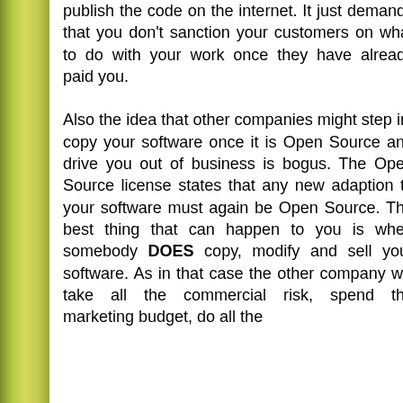publish the code on the internet. It just demands that you don't sanction your customers on what to do with your work once they have already paid you.

Also the idea that other companies might step in, copy your software once it is Open Source and drive you out of business is bogus. The Open Source license states that any new adaption to your software must again be Open Source. The best thing that can happen to you is when somebody DOES copy, modify and sell your software. As in that case the other company will take all the commercial risk, spend the marketing budget, do all the